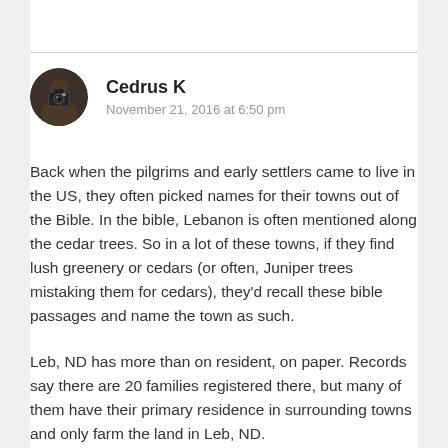[Figure (photo): Circular avatar photo of a person holding a camera, photographed person visible in reflection]
Cedrus K
November 21, 2016 at 6:50 pm
Back when the pilgrims and early settlers came to live in the US, they often picked names for their towns out of the Bible. In the bible, Lebanon is often mentioned along the cedar trees. So in a lot of these towns, if they find lush greenery or cedars (or often, Juniper trees mistaking them for cedars), they'd recall these bible passages and name the town as such.
Leb, ND has more than on resident, on paper. Records say there are 20 families registered there, but many of them have their primary residence in surrounding towns and only farm the land in Leb, ND.